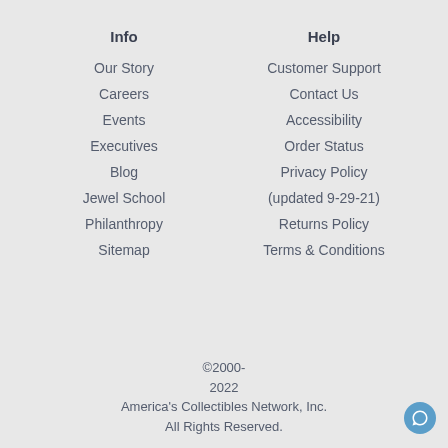Info
Help
Our Story
Customer Support
Careers
Contact Us
Events
Accessibility
Executives
Order Status
Blog
Privacy Policy
Jewel School
(updated 9-29-21)
Philanthropy
Returns Policy
Sitemap
Terms & Conditions
©2000-2022 America's Collectibles Network, Inc. All Rights Reserved.